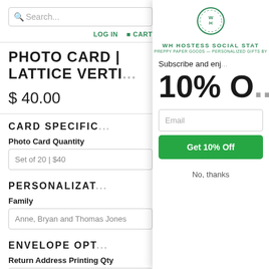Search...
LOG IN   CART
PHOTO CARD | LATTICE VERTI...
$ 40.00
CARD SPECIFIC...
Photo Card Quantity
Set of 20 | $40
PERSONALIZAT...
Family
Anne, Bryan and Thomas Jones
ENVELOPE OPT...
Return Address Printing Qty
none
[Figure (screenshot): Modal popup for WH Hostess Social Stationery email subscription with 10% off offer, email input, Get 10% Off button, and No thanks link]
WH HOSTESS SOCIAL STAT...
PREPPY PAPER GOODS AND PERSONALIZED GIFTS BY...
Subscribe and enjo...
10% OF...
Email
Get 10% Off
No, thanks